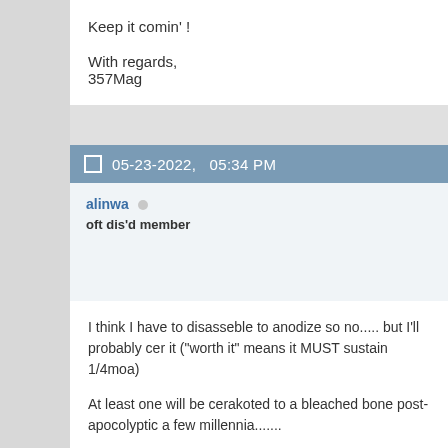Keep it comin' !

With regards,
357Mag
05-23-2022,   05:34 PM
alinwa
oft dis'd member
I think I have to disasseble to anodize so no..... but I'll probably cer it ("worth it" means it MUST sustain 1/4moa)

At least one will be cerakoted to a bleached bone post-apocolyptic a few millennia.......
05-24-2022,   02:21 PM